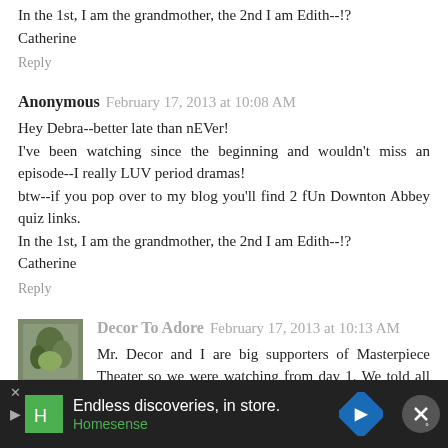In the 1st, I am the grandmother, the 2nd I am Edith--!?
Catherine
Reply
Anonymous  February 17, 2013 at 10:08 AM
Hey Debra--better late than nEVer!
I've been watching since the beginning and wouldn't miss an episode--I really LUV period dramas!
btw--if you pop over to my blog you'll find 2 fUn Downton Abbey quiz links.
In the 1st, I am the grandmother, the 2nd I am Edith--!?
Catherine
Reply
Decor To Adore  February 17, 2013 at 10:13 AM
Mr. Decor and I are big supporters of Masterpiece Theater so we were watching from day 1. We told all our friends and family
Endless discoveries, in store.
Homesense